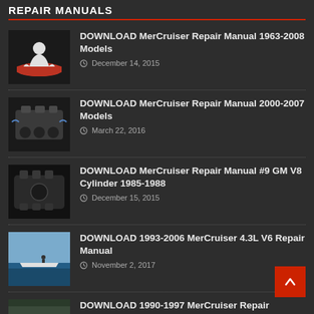REPAIR MANUALS
DOWNLOAD MerCruiser Repair Manual 1963-2008 Models
December 14, 2015
DOWNLOAD MerCruiser Repair Manual 2000-2007 Models
March 22, 2016
DOWNLOAD MerCruiser Repair Manual #9 GM V8 Cylinder 1985-1988
December 15, 2015
DOWNLOAD 1993-2006 MerCruiser 4.3L V6 Repair Manual
November 2, 2017
DOWNLOAD 1990-1997 MerCruiser Repair...